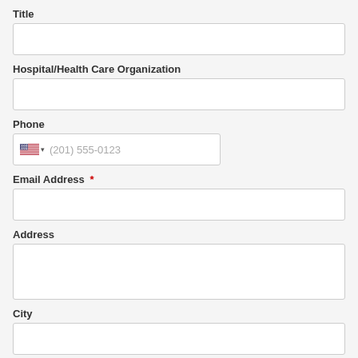Title
Hospital/Health Care Organization
Phone
Email Address *
Address
City